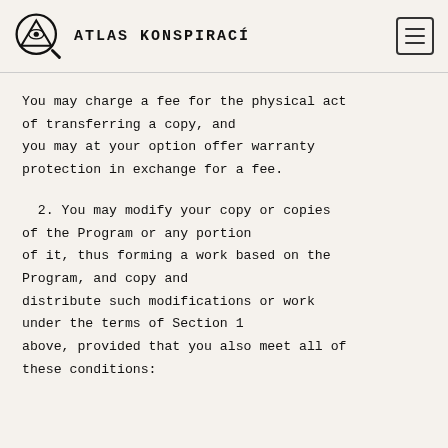ATLAS KONSPIRACÍ
You may charge a fee for the physical act of transferring a copy, and you may at your option offer warranty protection in exchange for a fee.
2. You may modify your copy or copies of the Program or any portion of it, thus forming a work based on the Program, and copy and distribute such modifications or work under the terms of Section 1 above, provided that you also meet all of these conditions: